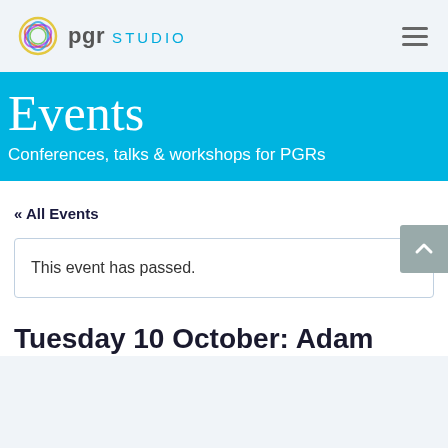pgr STUDIO
Events
Conferences, talks & workshops for PGRs
« All Events
This event has passed.
Tuesday 10 October: Adam